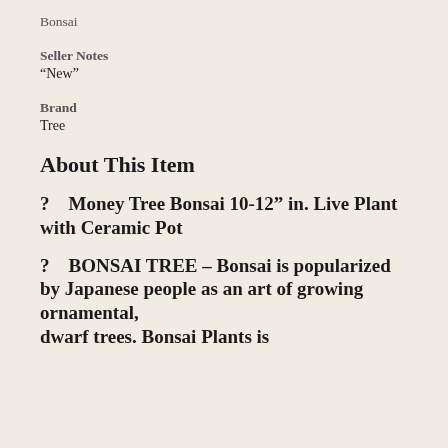Bonsai
Seller Notes
“New”
Brand
Tree
About This Item
? Money Tree Bonsai 10-12” in. Live Plant with Ceramic Pot
? BONSAI TREE – Bonsai is popularized by Japanese people as an art of growing ornamental, dwarf trees. Bonsai Plants is